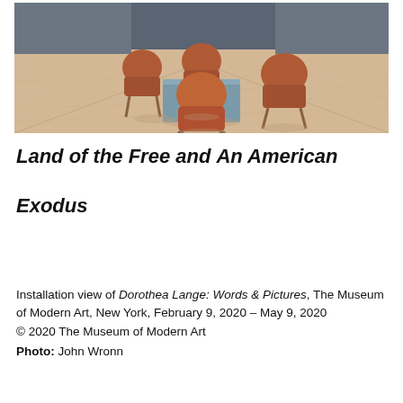[Figure (photo): Installation view of a museum gallery showing four orange/terracotta-colored bucket chairs arranged around a low rectangular blue coffee table on a light wood floor, with dark grey walls in the background.]
Land of the Free and An American Exodus
Installation view of Dorothea Lange: Words & Pictures, The Museum of Modern Art, New York, February 9, 2020 – May 9, 2020
© 2020 The Museum of Modern Art
Photo: John Wronn